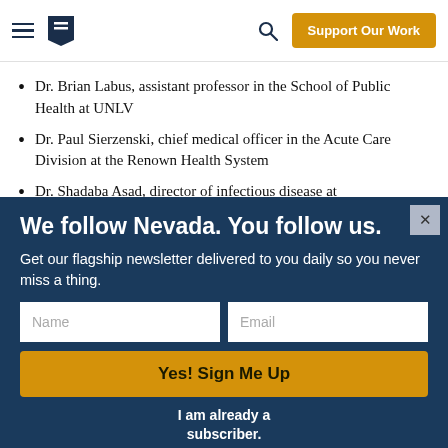Support Our Work
Dr. Brian Labus, assistant professor in the School of Public Health at UNLV
Dr. Paul Sierzenski, chief medical officer in the Acute Care Division at the Renown Health System
Dr. Shadaba Asad, director of infectious disease at [truncated]
We follow Nevada. You follow us.
Get our flagship newsletter delivered to you daily so you never miss a thing.
I am already a subscriber.